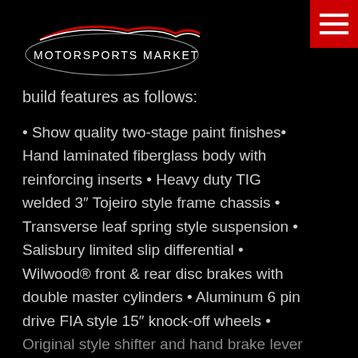MOTORSPORTS MARKET
build features as follows:
Show quality two-stage paint finishes
Hand laminated fiberglass body with reinforcing inserts
Heavy duty TIG welded 3″ Tojeiro style frame chassis
Transverse leaf spring style suspension
Salisbury limited slip differential
Wilwood® front & rear disc brakes with double master cylinders
Aluminum 6 pin drive FIA style 15″ knock-off wheels
Original style shifter and hand brake lever